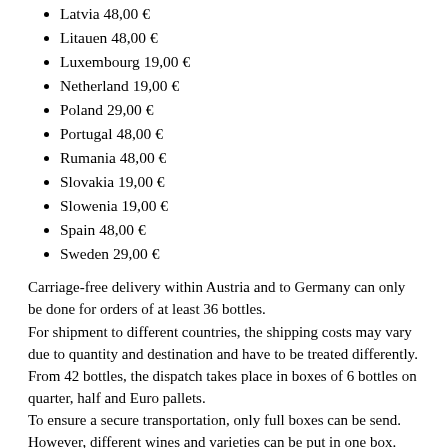Latvia 48,00 €
Litauen 48,00 €
Luxembourg 19,00 €
Netherland 19,00 €
Poland 29,00 €
Portugal 48,00 €
Rumania 48,00 €
Slovakia 19,00 €
Slowenia 19,00 €
Spain 48,00 €
Sweden 29,00 €
Carriage-free delivery within Austria and to Germany can only be done for orders of at least 36 bottles.
For shipment to different countries, the shipping costs may vary due to quantity and destination and have to be treated differently.
From 42 bottles, the dispatch takes place in boxes of 6 bottles on quarter, half and Euro pallets.
To ensure a secure transportation, only full boxes can be send. However, different wines and varieties can be put in one box. The total amount needs to be a multiple of 6.
Withdrawal, Right of Withdrawal